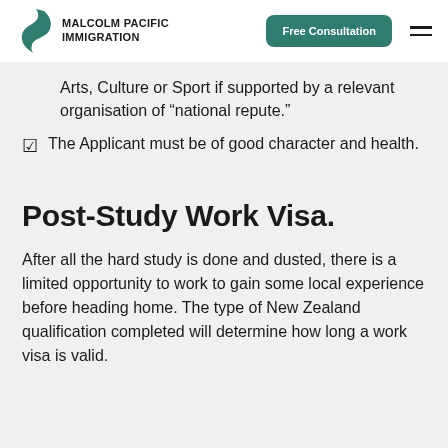Malcolm Pacific Immigration | Free Consultation
Arts, Culture or Sport if supported by a relevant organisation of “national repute.”
The Applicant must be of good character and health.
Post-Study Work Visa.
After all the hard study is done and dusted, there is a limited opportunity to work to gain some local experience before heading home. The type of New Zealand qualification completed will determine how long a work visa is valid.